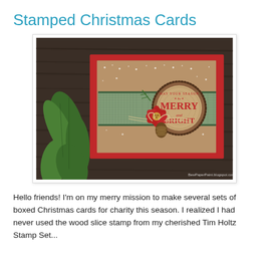Stamped Christmas Cards
[Figure (photo): A handmade stamped Christmas card featuring a wood slice stamp with 'May Your Season Be Merry and Bright' text in red, a red poinsettia flower decoration, burlap/kraft paper layers, pine sprig, twine bow, on a red card base, photographed on dark wood surface with green holly plant leaves. Watermark: BewPaperPaint.blogspot.com]
Hello friends!  I'm on my merry mission to make several sets of boxed Christmas cards for charity this season.  I realized I had never used the wood slice stamp from my cherished Tim Holtz Stamp Set...